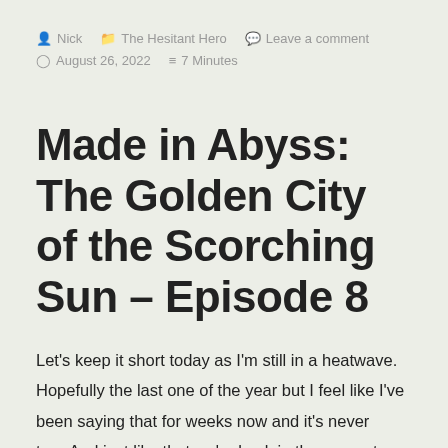Nick   The Hesitant Hero   Leave a comment   August 26, 2022   7 Minutes
Made in Abyss: The Golden City of the Scorching Sun – Episode 8
Let's keep it short today as I'm still in a heatwave. Hopefully the last one of the year but I feel like I've been saying that for weeks now and it's never true.And just like that we're back in the present